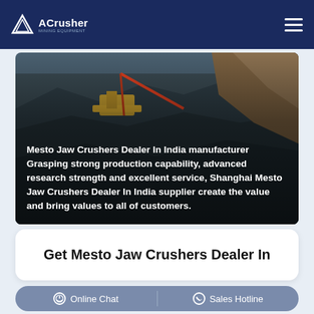ACrusher - Mining Equipment
[Figure (photo): Aerial view of open-pit mine with dark rocky terrain and earth-moving equipment, with overlay text describing Mesto Jaw Crushers Dealer In India manufacturer.]
Mesto Jaw Crushers Dealer In India manufacturer Grasping strong production capability, advanced research strength and excellent service, Shanghai Mesto Jaw Crushers Dealer In India supplier create the value and bring values to all of customers.
Get Mesto Jaw Crushers Dealer In
Online Chat | Sales Hotline